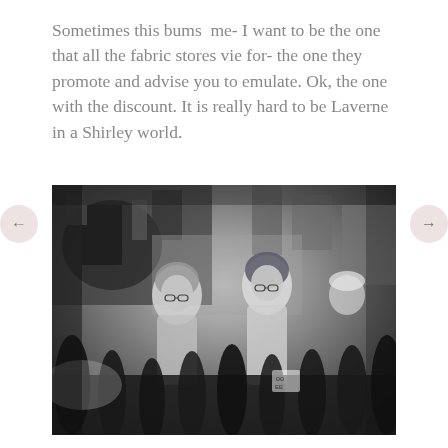Sometimes this bums  me- I want to be the one that all the fabric stores vie for- the one they promote and advise you to emulate. Ok, the one with the discount. It is really hard to be Laverne in a Shirley world.
[Figure (photo): Black and white photograph of two women wearing head scarves and glasses, smiling at each other in what appears to be a factory or industrial setting with machinery and bottles on a conveyor belt in the foreground. A third person in a hard hat is visible in the background.]